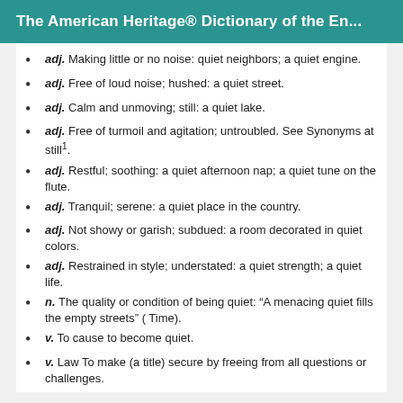The American Heritage® Dictionary of the En...
adj. Making little or no noise: quiet neighbors; a quiet engine.
adj. Free of loud noise; hushed: a quiet street.
adj. Calm and unmoving; still: a quiet lake.
adj. Free of turmoil and agitation; untroubled. See Synonyms at still1.
adj. Restful; soothing: a quiet afternoon nap; a quiet tune on the flute.
adj. Tranquil; serene: a quiet place in the country.
adj. Not showy or garish; subdued: a room decorated in quiet colors.
adj. Restrained in style; understated: a quiet strength; a quiet life.
n. The quality or condition of being quiet: “A menacing quiet fills the empty streets” ( Time).
v. To cause to become quiet.
v. Law To make (a title) secure by freeing from all questions or challenges.